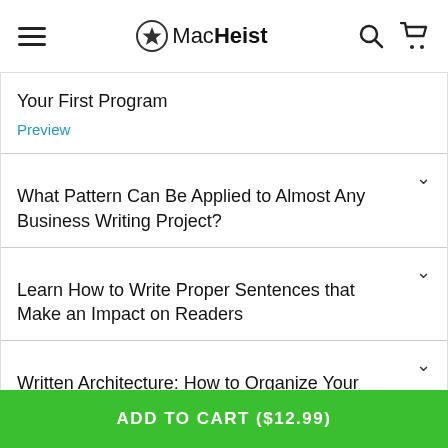MacHeist
Your First Program
Preview
What Pattern Can Be Applied to Almost Any Business Writing Project?
Learn How to Write Proper Sentences that Make an Impact on Readers
Written Architecture: How to Organize Your Ideas in an
ADD TO CART ($12.99)